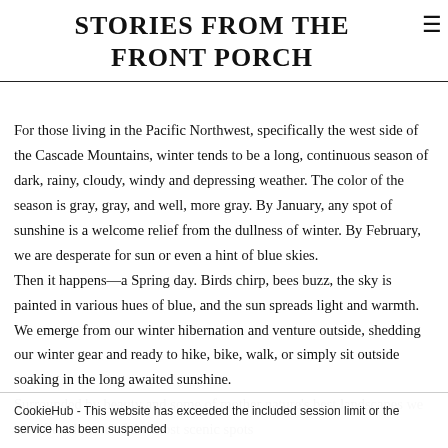STORIES FROM THE FRONT PORCH
For those living in the Pacific Northwest, specifically the west side of the Cascade Mountains, winter tends to be a long, continuous season of dark, rainy, cloudy, windy and depressing weather. The color of the season is gray, gray, and well, more gray. By January, any spot of sunshine is a welcome relief from the dullness of winter. By February, we are desperate for sun or even a hint of blue skies.
Then it happens—a Spring day. Birds chirp, bees buzz, the sky is painted in various hues of blue, and the sun spreads light and warmth. We emerge from our winter hibernation and venture outside, shedding our winter gear and ready to hike, bike, walk, or simply sit outside soaking in the long awaited sunshine.
Surrounded by beauty and some of mother nature's best landscapes we are offered some of the most scenic spots
CookieHub - This website has exceeded the included session limit or the service has been suspended